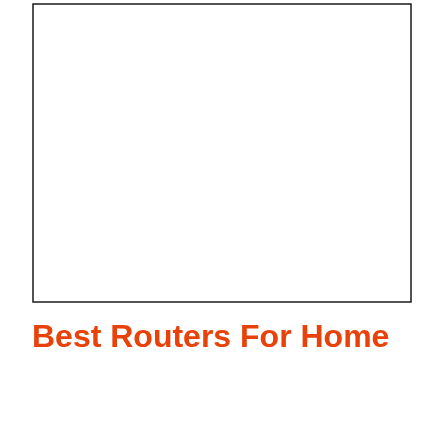[Figure (other): Large empty white rectangle with a thin black border outline, occupying the upper portion of the page]
Best Routers For Home